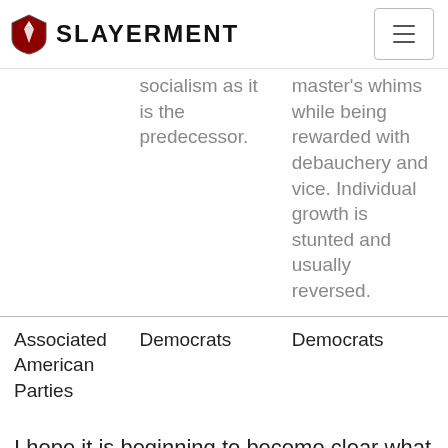Slayerment
|  | socialism as it is the predecessor. | master's whims while being rewarded with debauchery and vice. Individual growth is stunted and usually reversed. |
| Associated American Parties | Democrats | Democrats |
I hope it is beginning to become clear what is going on here. Communism, Socialism and Fascism ARE ALL THE SAME. The subtle differences between them are minor things that make hardly any difference. It's